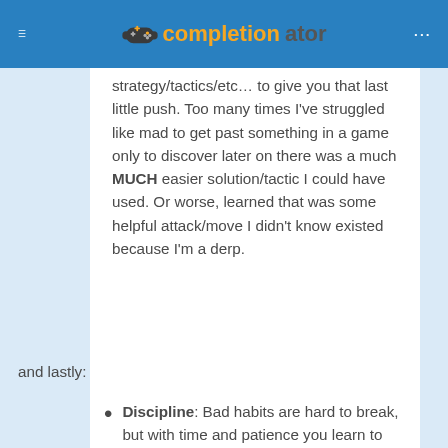completionator
strategy/tactics/etc… to give you that last little push. Too many times I've struggled like mad to get past something in a game only to discover later on there was a much MUCH easier solution/tactic I could have used. Or worse, learned that was some helpful attack/move I didn't know existed because I'm a derp.
and lastly:
Discipline: Bad habits are hard to break, but with time and patience you learn to get them under control. Like Ardraaken suggests, sometimes the only